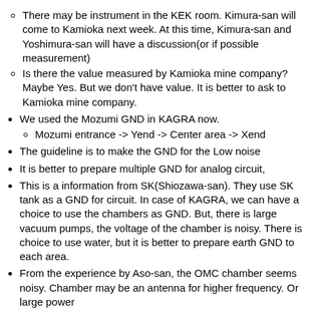There may be instrument in the KEK room. Kimura-san will come to Kamioka next week. At this time, Kimura-san and Yoshimura-san will have a discussion(or if possible measurement)
Is there the value measured by Kamioka mine company? Maybe Yes. But we don't have value. It is better to ask to Kamioka mine company.
We used the Mozumi GND in KAGRA now.
Mozumi entrance -> Yend -> Center area -> Xend
The guideline is to make the GND for the Low noise
It is better to prepare multiple GND for analog circuit,
This is a information from SK(Shiozawa-san). They use SK tank as a GND for circuit. In case of KAGRA, we can have a choice to use the chambers as GND. But, there is large vacuum pumps, the voltage of the chamber is noisy. There is choice to use water, but it is better to prepare earth GND to each area.
From the experience by Aso-san, the OMC chamber seems noisy. Chamber may be an antenna for higher frequency. Or large power...